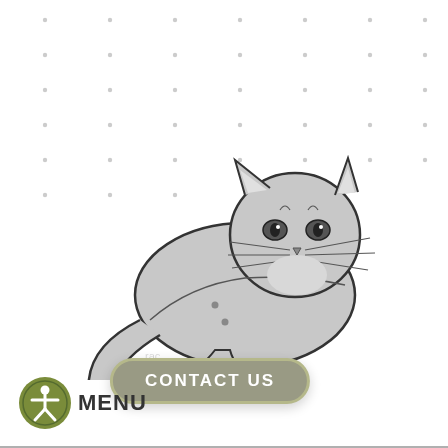[Figure (illustration): Dot grid background pattern with evenly spaced small dots arranged in rows and columns across the upper portion of the page]
[Figure (illustration): A cartoon-style illustration of a gray cat lying down in a loaf position, facing the viewer, with whiskers, pointy ears, and a curled tail extending to the left]
[Figure (other): A rounded rectangular button with gray-green background and border reading CONTACT US in white bold spaced letters]
[Figure (other): An accessibility icon (person in circle, olive green) followed by the text MENU]